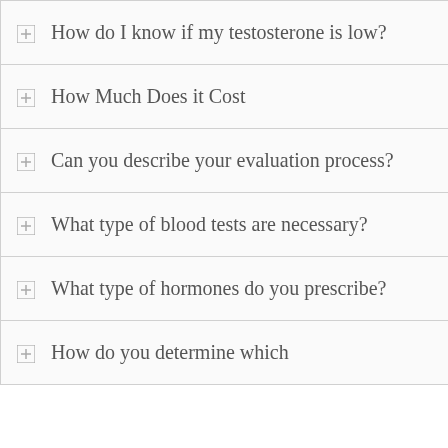How do I know if my testosterone is low?
How Much Does it Cost
Can you describe your evaluation process?
What type of blood tests are necessary?
What type of hormones do you prescribe?
How do you determine which